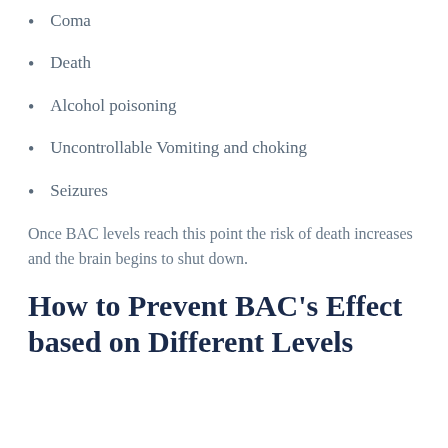Coma
Death
Alcohol poisoning
Uncontrollable Vomiting and choking
Seizures
Once BAC levels reach this point the risk of death increases and the brain begins to shut down.
How to Prevent BAC's Effect based on Different Levels